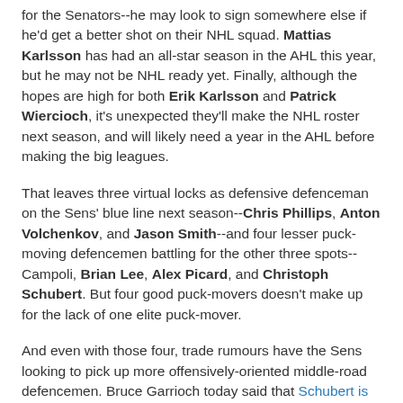for the Senators--he may look to sign somewhere else if he'd get a better shot on their NHL squad. Mattias Karlsson has had an all-star season in the AHL this year, but he may not be NHL ready yet. Finally, although the hopes are high for both Erik Karlsson and Patrick Wiercioch, it's unexpected they'll make the NHL roster next season, and will likely need a year in the AHL before making the big leagues.
That leaves three virtual locks as defensive defenceman on the Sens' blue line next season--Chris Phillips, Anton Volchenkov, and Jason Smith--and four lesser puck-moving defencemen battling for the other three spots--Campoli, Brian Lee, Alex Picard, and Christoph Schubert. But four good puck-movers doesn't make up for the lack of one elite puck-mover.
And even with those four, trade rumours have the Sens looking to pick up more offensively-oriented middle-road defencemen. Bruce Garrioch today said that Schubert is all but traded (about time), with Edmonton and Tampa Bay both interested, and the asking price for the Oilers set at young defenceman Ladislav Smid--yet another young, mobile